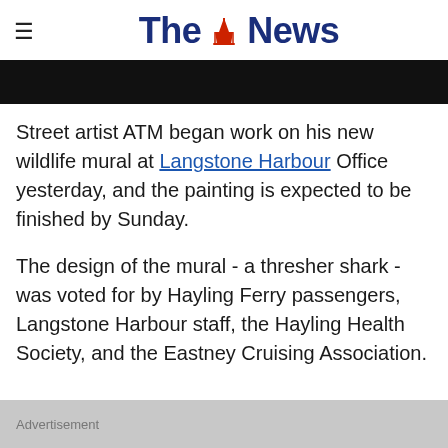The News
[Figure (photo): Black banner image at the top of the article]
Street artist ATM began work on his new wildlife mural at Langstone Harbour Office yesterday, and the painting is expected to be finished by Sunday.
The design of the mural - a thresher shark - was voted for by Hayling Ferry passengers, Langstone Harbour staff, the Hayling Health Society, and the Eastney Cruising Association.
Advertisement